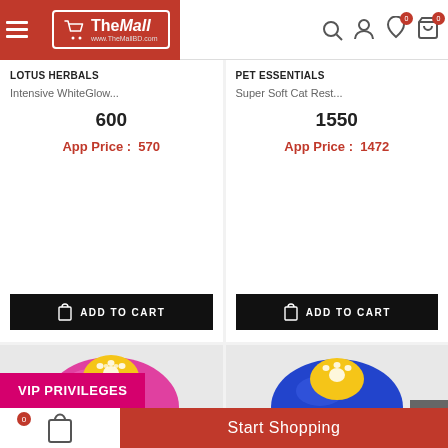[Figure (screenshot): TheMall website header with hamburger menu, logo, search icon, user icon, wishlist icon with badge 0, and cart icon with badge 0]
LOTUS HERBALS
Intensive WhiteGlow...
600
App Price :  570
ADD TO CART
PET ESSENTIALS
Super Soft Cat Rest...
1550
App Price :  1472
ADD TO CART
[Figure (photo): Pink pet training bell with yellow top button and white paw print design]
[Figure (photo): Blue pet training bell with yellow top button and white paw print design]
VIP PRIVILEGES
0  Start Shopping